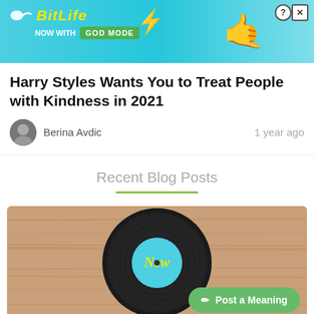[Figure (screenshot): BitLife advertisement banner with blue background, BitLife logo in yellow italic text, GOD MODE green badge, hand emoji, lightning bolt, help and close buttons]
Harry Styles Wants You to Treat People with Kindness in 2021
Berina Avdic    1 year ago
Recent Blog Posts
[Figure (photo): Vinyl record on wooden surface with teal/blue center label reading 'New' in stylized script text. A green 'Post a Meaning' button overlays the bottom right.]